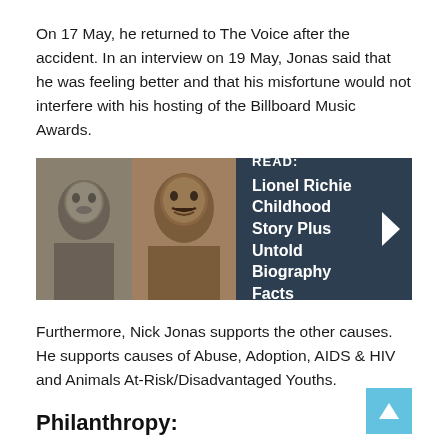On 17 May, he returned to The Voice after the accident. In an interview on 19 May, Jonas said that he was feeling better and that his misfortune would not interfere with his hosting of the Billboard Music Awards.
[Figure (infographic): A promotional card with dark blue background showing two photos of Lionel Richie (young and adult) and text: READ: Lionel Richie Childhood Story Plus Untold Biography Facts, with a right arrow chevron.]
Furthermore, Nick Jonas supports the other causes. He supports causes of Abuse, Adoption, AIDS & HIV and Animals At-Risk/Disadvantaged Youths.
Philanthropy: